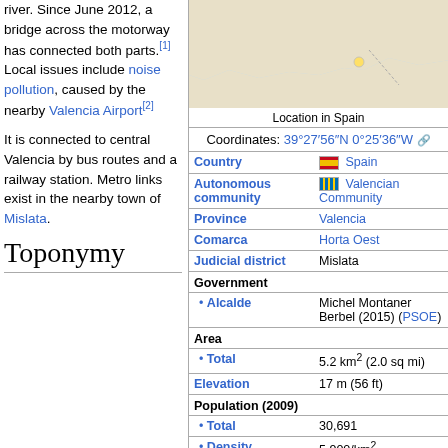river. Since June 2012, a bridge across the motorway has connected both parts.[1] Local issues include noise pollution, caused by the nearby Valencia Airport[2]
It is connected to central Valencia by bus routes and a railway station. Metro links exist in the nearby town of Mislata.
Toponymy
[Figure (map): Map showing location of municipality in Spain]
Location in Spain
Coordinates: 39°27′56″N 0°25′36″W
| Field | Value |
| --- | --- |
| Country | Spain |
| Autonomous community | Valencian Community |
| Province | Valencia |
| Comarca | Horta Oest |
| Judicial district | Mislata |
| Government |  |
| • Alcalde | Michel Montaner Berbel (2015) (PSOE) |
| Area |  |
| • Total | 5.2 km² (2.0 sq mi) |
| Elevation | 17 m (56 ft) |
| Population (2009) |  |
| • Total | 30,691 |
| • Density | 5,900/km² (15,000/sq mi) |
| Demonym(s) | Chirivellense, Xirivellenc |
| Time zone | CET (UTC+1) |